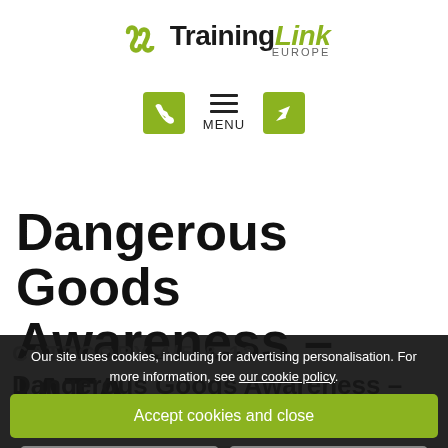[Figure (logo): TrainingLink Europe logo with green infinity/chain icon and bold text]
[Figure (screenshot): Navigation bar with green phone icon, hamburger menu with MENU label, and green navigation arrow icon]
Dangerous Goods Awareness – IATA
CATEGORY 4/5 & 12
Our site uses cookies, including for advertising personalisation. For more information, see our cookie policy.
Accept cookies and close
Reject cookies
Manage settings
Dangerous Goods Awareness –